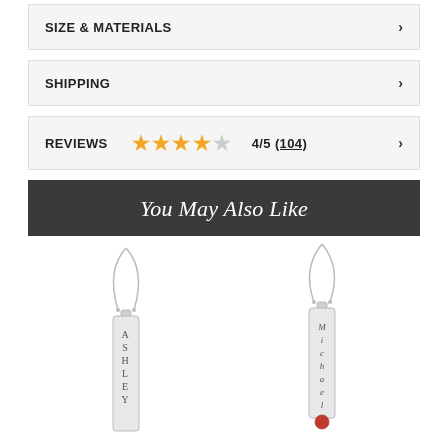SIZE & MATERIALS
SHIPPING
REVIEWS 4/5 (104)
You May Also Like
[Figure (photo): Silver bar necklace with ASHLEY engraved vertically]
[Figure (photo): Silver bar necklace with Michael engraved and a red gemstone]